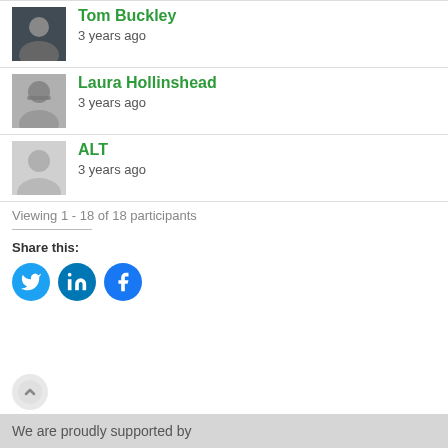[Figure (photo): Profile photo of Tom Buckley, a man]
Tom Buckley
3 years ago
[Figure (photo): Profile photo of Laura Hollinshead, a woman with glasses]
Laura Hollinshead
3 years ago
[Figure (illustration): Default avatar placeholder silhouette]
ALT
3 years ago
Viewing 1 - 18 of 18 participants
Share this:
[Figure (infographic): Social sharing buttons: Twitter, LinkedIn, Facebook]
[Figure (illustration): Scroll up button (circular arrow)]
We are proudly supported by